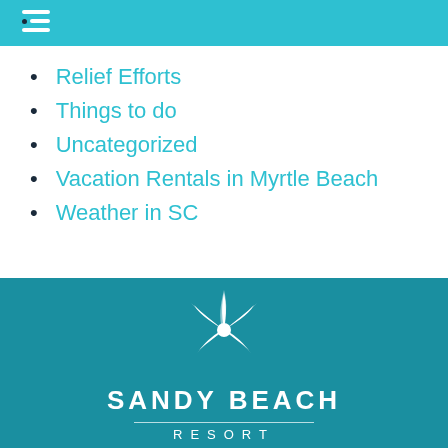Navigation menu header bar
Relief Efforts
Things to do
Uncategorized
Vacation Rentals in Myrtle Beach
Weather in SC
[Figure (logo): Sandy Beach Resort logo: white starfish icon above the text SANDY BEACH RESORT on a teal background]